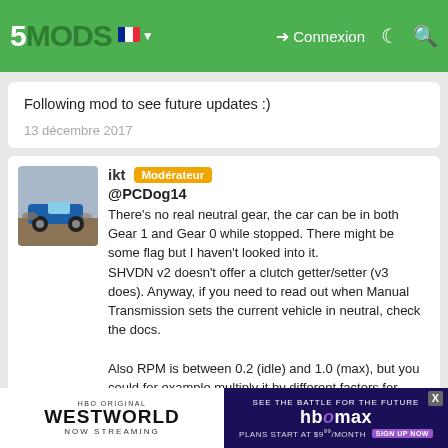5MODS — Connexion navigation bar
numbers, lefix's rpm speedo also works like this but i don't know can you cheat in digital values.
Following mod to see future updates :)
13 décembre 2017
ikt  Modérateur
@PCDog14
There's no real neutral gear, the car can be in both Gear 1 and Gear 0 while stopped. There might be some flag but I haven't looked into it.
SHVDN v2 doesn't offer a clutch getter/setter (v3 does). Anyway, if you need to read out when Manual Transmission sets the current vehicle in neutral, check the docs.

Also RPM is between 0.2 (idle) and 1.0 (max), but you could for example multiply it by different factors for different vehicle classes. (10k for supers, 9k for sports, 7k for normal, etc).
[Figure (screenshot): Advertisement banners at bottom: HBO Original Westworld Now Streaming (left), HBO Max See The Battle For The Future Sign Up Now Plans Start At $9/month (right)]